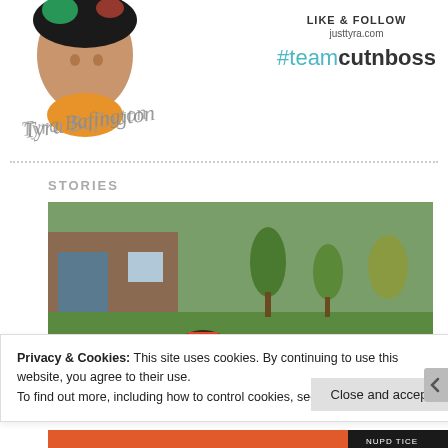[Figure (logo): Tyra Bafington script logo with illustrated portrait]
LIKE & FOLLOW
justtyra.com
#teamcutnboss
STORIES
[Figure (photo): Outdoor photo of an adult and two children with backpacks walking in a suburban neighborhood]
Privacy & Cookies: This site uses cookies. By continuing to use this website, you agree to their use.
To find out more, including how to control cookies, see here: Cookie Policy
Close and accept